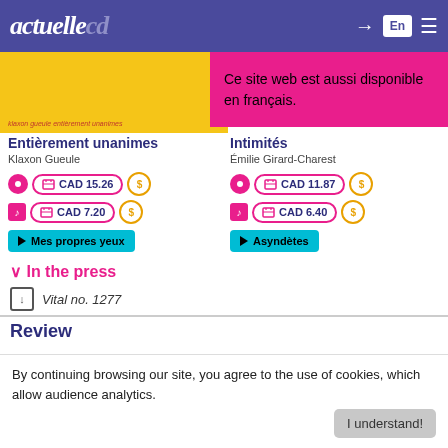actuellecd — En
Ce site web est aussi disponible en français.
Entièrement unanimes
Klaxon Gueule
CAD 15.26
CAD 7.20
▶ Mes propres yeux
Intimités
Émilie Girard-Charest
CAD 11.87
CAD 6.40
▶ Asyndètes
∨ In the press
↓ Vital no. 1277
Review
By continuing browsing our site, you agree to the use of cookies, which allow audience analytics.
I understand!